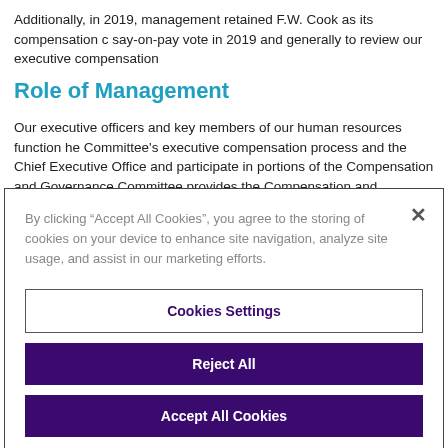Additionally, in 2019, management retained F.W. Cook as its compensation c say-on-pay vote in 2019 and generally to review our executive compensation
Role of Management
Our executive officers and key members of our human resources function he Committee's executive compensation process and the Chief Executive Office and participate in portions of the Compensation and Governance Committee provides the Compensation and Governance Committee with strategic conte operational risks, strategy and performance, and shareholder value-creation
By clicking “Accept All Cookies”, you agree to the storing of cookies on your device to enhance site navigation, analyze site usage, and assist in our marketing efforts.
Cookies Settings
Reject All
Accept All Cookies